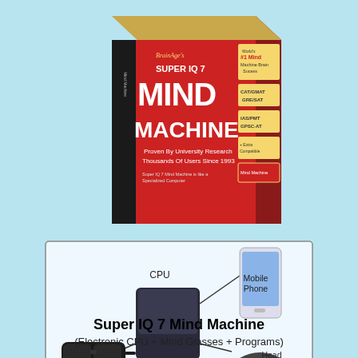[Figure (photo): Product box for Super IQ 7 Mind Machine by BrainAge. Red and black box with text: SUPER IQ 7 MIND MACHINE, Proven By University Research, Thousands Of Users Since 1993. Side panels show exam categories: CAT/GMAT/GRE/SAT, IAS/PMT/GPSC-AT.]
[Figure (schematic): Diagram showing components of the Super IQ 7 Mind Machine system: a CPU unit in the center connected to a Mobile Phone (top right), Head Phone (bottom right), and Mind Glasses (bottom left), with connecting lines between components and labels.]
Super IQ 7 Mind Machine
(Electronic CPU + Mind Glasses + Programs)